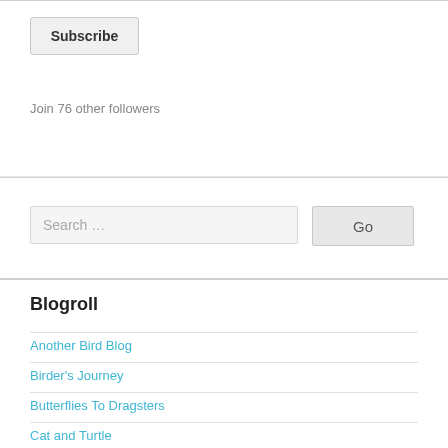[Figure (screenshot): Subscribe button UI element]
Join 76 other followers
[Figure (screenshot): Search input field with Go button]
Blogroll
Another Bird Blog
Birder's Journey
Butterflies To Dragsters
Cat and Turtle
Central Florida Photo Ops